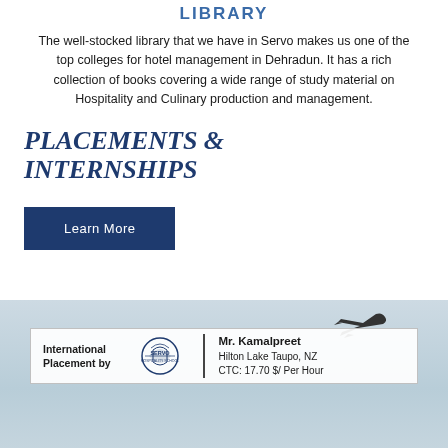LIBRARY
The well-stocked library that we have in Servo makes us one of the top colleges for hotel management in Dehradun. It has a rich collection of books covering a wide range of study material on Hospitality and Culinary production and management.
PLACEMENTS & INTERNSHIPS
Learn More
[Figure (photo): International Placement banner with Servo Hospitality School logo, airplane graphic, and text: International Placement by | Mr. Kamalpreet, Hilton Lake Taupo, NZ, CTC: 17.70 $/ Per Hour]